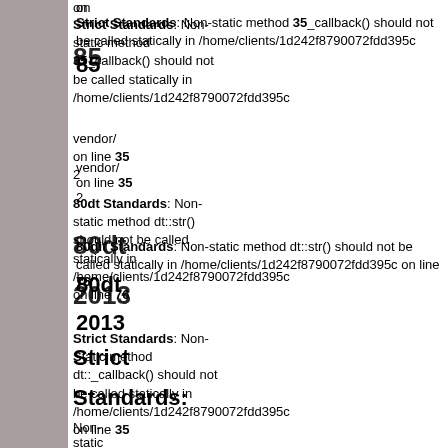on
Strict Standards: Non-static method 35_callback() should not be called statically in /home/clients/1d242f8790072fdd395c/vendor/ on line 35
2
80 Strict Standards: Non-static method dt::str() should not be called statically in /home/clients/1d242f8790072fdd395c on line 76
2013
Strict Standards: Non-static method dt::_callback() should not be called statically in /home/clients/1d242f8790072fdd395c on line 35
Strict Standards: Non-static method dcMailer::sendToFriendLink() should not be called statically in /home/clients/1d242f8790072fdd395c on line 35
Strict Standards: Non-static method dt::str() should not be called statically in /home/clients/1d242f8790072fdd395c
Strict Standards: Non-static
Standards: Non-static
method dcMailer::sendToFriendLink()